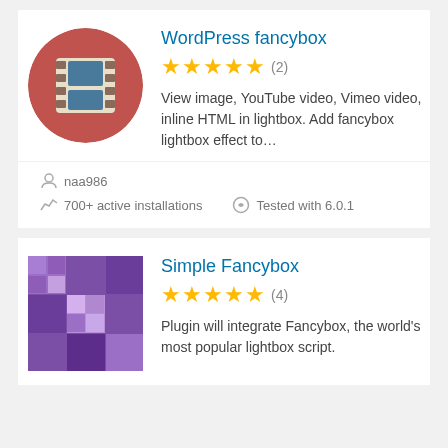[Figure (illustration): WordPress fancybox plugin icon: red circle with a film strip icon in beige/teal colors]
WordPress fancybox
★★★★★ (2)
View image, YouTube video, Vimeo video, inline HTML in lightbox. Add fancybox lightbox effect to…
naa986
700+ active installations
Tested with 6.0.1
[Figure (illustration): Simple Fancybox plugin icon: purple pixelated/mosaic square pattern]
Simple Fancybox
★★★★★ (4)
Plugin will integrate Fancybox, the world's most popular lightbox script.